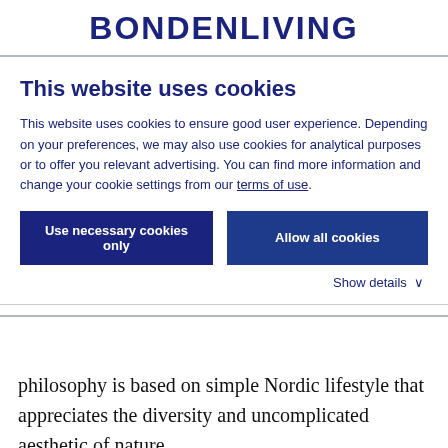BONDENLIVING
This website uses cookies
This website uses cookies to ensure good user experience. Depending on your preferences, we may also use cookies for analytical purposes or to offer you relevant advertising. You can find more information and change your cookie settings from our terms of use.
Use necessary cookies only   Allow all cookies
Show details ∨
philosophy is based on simple Nordic lifestyle that appreciates the diversity and uncomplicated aesthetic of nature.
Bonden products are designed for people who find it